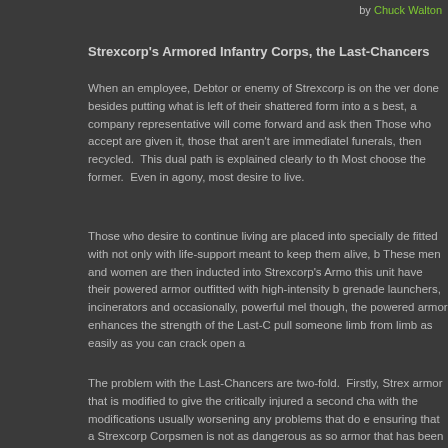by Chuck Walton
Strexcorp's Armored Infantry Corps, the Last-Chancers
When an employee, Debtor or enemy of Strexcorp is on the ver done besides putting what is left of their shattered form into a s best, a company representative will come forward and ask then Those who accept are given it, those that aren't are immediatel funerals, then recycled.  This dual path is explained clearly to th Most choose the former.  Even in agony, most desire to live.
Those who desire to continue living are placed into specially de fitted with not only with life-support meant to keep them alive, b These men and women are then inducted into Strexcorp's Armo this unit have their powered armor outfitted with high-intensity b grenade launchers, incinerators and occasionally, powerful mel though, the powered armor enhances the strength of the Last-C pull someone limb from limb as easily as you can crack open a
The problem with the Last-Chancers are two-fold.  Firstly, Strex armor that is modified to give the critically injured a second cha with the modifications usually worsening any problems that do e ensuring that a Strexcorp Corpsmen is not as dangerous as so armor that has been properly maintained.